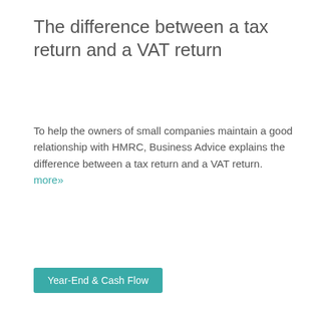The difference between a tax return and a VAT return
To help the owners of small companies maintain a good relationship with HMRC, Business Advice explains the difference between a tax return and a VAT return. more»
Year-End & Cash Flow